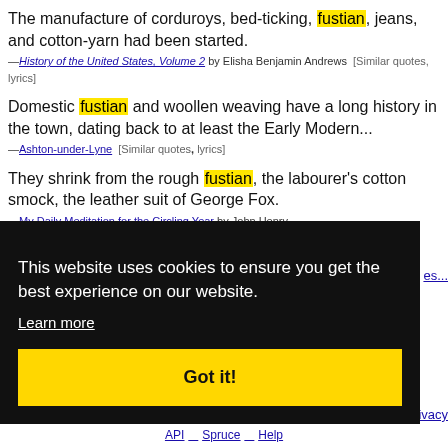The manufacture of corduroys, bed-ticking, fustian, jeans, and cotton-yarn had been started.
—History of the United States, Volume 2 by Elisha Benjamin Andrews  [Similar quotes, lyrics]
Domestic fustian and woollen weaving have a long history in the town, dating back to at least the Early Modern...
—Ashton-under-Lyne  [Similar quotes,  lyrics]
They shrink from the rough fustian, the labourer's cotton smock, the leather suit of George Fox.
—My Daily Meditation for the Circling Year by John Henry
This website uses cookies to ensure you get the best experience on our website.
Learn more
Got it!